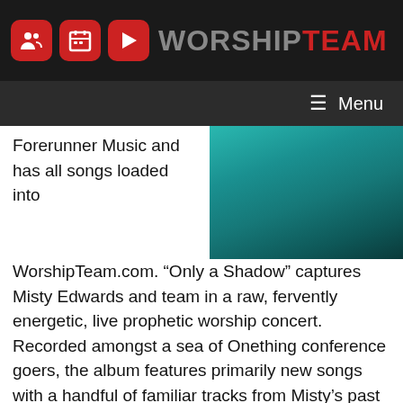WORSHIP TEAM
[Figure (screenshot): Teal/green album art image in top right]
Forerunner Music and has all songs loaded into WorshipTeam.com. “Only a Shadow” captures Misty Edwards and team in a raw, fervently energetic, live prophetic worship concert. Recorded amongst a sea of Onething conference goers, the album features primarily new songs with a handful of familiar tracks from Misty’s past decade of worship releases.
The album is framed between themes of the love of God and the resulting pledges of unwavering